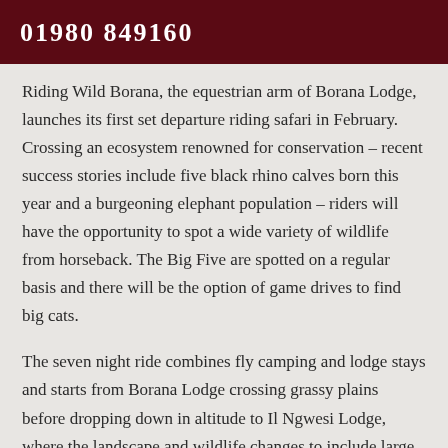01980 849160
Riding Wild Borana, the equestrian arm of Borana Lodge, launches its first set departure riding safari in February. Crossing an ecosystem renowned for conservation – recent success stories include five black rhino calves born this year and a burgeoning elephant population – riders will have the opportunity to spot a wide variety of wildlife from horseback. The Big Five are spotted on a regular basis and there will be the option of game drives to find big cats.
The seven night ride combines fly camping and lodge stays and starts from Borana Lodge crossing grassy plains before dropping down in altitude to Il Ngwesi Lodge, where the landscape and wildlife changes to include large herds of reticulated giraffe as well as a strong population of Grevy's zebra and gerenuk. Further information and a detailed